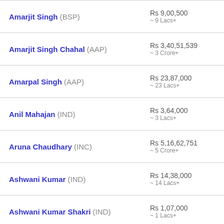Amarjit Singh (BSP) | Rs 9,00,500 ~ 9 Lacs+
Amarjit Singh Chahal (AAP) | Rs 3,40,51,539 ~ 3 Crore+
Amarpal Singh (AAP) | Rs 23,87,000 ~ 23 Lacs+
Anil Mahajan (IND) | Rs 3,64,000 ~ 3 Lacs+
Aruna Chaudhary (INC) | Rs 5,16,62,751 ~ 5 Crore+
Ashwani Kumar (IND) | Rs 14,38,000 ~ 14 Lacs+
Ashwani Kumar Shakri (IND) | Rs 1,07,000 ~ 1 Lacs+
Ashwani Sekhri (INC) | Rs 7,77,60,830 ~ 7 Crore+
Avtar Singh (CPI(M)) | Rs 1,90,000 ~ 1 Lacs+